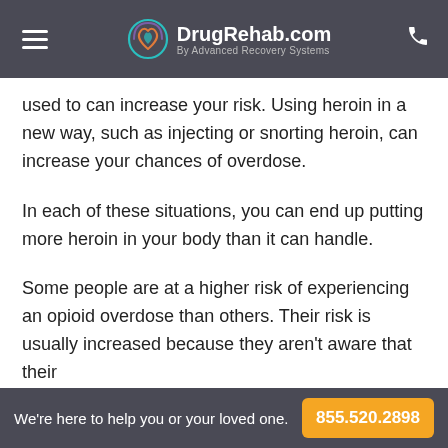DrugRehab.com By Advanced Recovery Systems
used to can increase your risk. Using heroin in a new way, such as injecting or snorting heroin, can increase your chances of overdose.
In each of these situations, you can end up putting more heroin in your body than it can handle.
Some people are at a higher risk of experiencing an opioid overdose than others. Their risk is usually increased because they aren't aware that their
We're here to help you or your loved one. 855.520.2898